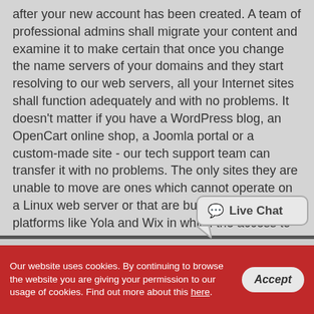after your new account has been created. A team of professional admins shall migrate your content and examine it to make certain that once you change the name servers of your domains and they start resolving to our web servers, all your Internet sites shall function adequately and with no problems. It doesn't matter if you have a WordPress blog, an OpenCart online shop, a Joomla portal or a custom-made site - our tech support team can transfer it with no problems. The only sites they are unable to move are ones which cannot operate on a Linux web server or that are built on closed platforms like Yola and Wix in which the access to the website files is limited.
[Figure (other): Live Chat widget button with speech bubble icon and text 'Live Chat']
Our website uses cookies. By continuing to browse the website you are giving your permission to our usage of cookies. Find out more about this here.